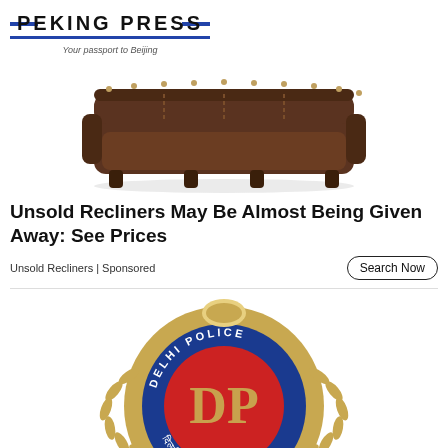[Figure (logo): Peking Press logo with blue horizontal lines and tagline 'Your passport to Beijing']
[Figure (photo): Brown leather recliner sofa with nail head trim]
Unsold Recliners May Be Almost Being Given Away: See Prices
Unsold Recliners | Sponsored
[Figure (logo): Delhi Police emblem with blue and red circular badge, golden laurel wreath, and DP monogram]